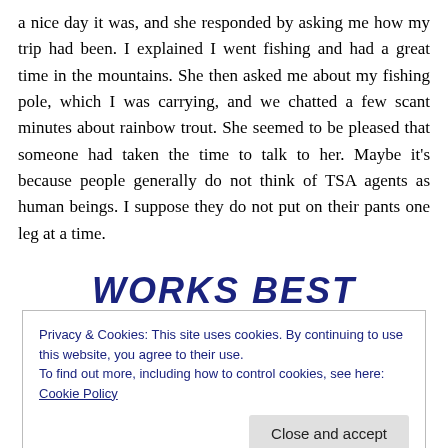a nice day it was, and she responded by asking me how my trip had been. I explained I went fishing and had a great time in the mountains. She then asked me about my fishing pole, which I was carrying, and we chatted a few scant minutes about rainbow trout. She seemed to be pleased that someone had taken the time to talk to her. Maybe it's because people generally do not think of TSA agents as human beings. I suppose they do not put on their pants one leg at a time.
Works Best
Privacy & Cookies: This site uses cookies. By continuing to use this website, you agree to their use.
To find out more, including how to control cookies, see here: Cookie Policy